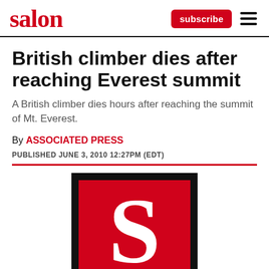salon | subscribe
British climber dies after reaching Everest summit
A British climber dies hours after reaching the summit of Mt. Everest.
By ASSOCIATED PRESS
PUBLISHED JUNE 3, 2010 12:27PM (EDT)
[Figure (logo): Salon magazine logo — large white stylized 'S' on a red background with a black border/frame]